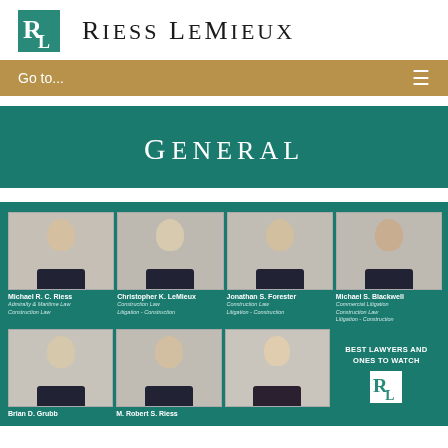[Figure (logo): Riess LeMieux law firm logo with teal RL monogram icon and serif uppercase firm name]
Go to...
General
[Figure (photo): Grid of attorney headshots: Michael R. C. Riess (Admiralty & Maritime Law, Construction Law), Christopher K. LeMieux (Construction Law, Litigation - Construction), Jonathan S. Forester (Construction Law, Litigation - Construction), Michael S. Blackwell (Commercial Litigation, Construction Law, Litigation - Construction), Brian D. Grubb, M. Robert S. Riess, and a third attorney in the second row. Bottom right shows 'Best Lawyers and Ones to Watch' badge with RL logo.]